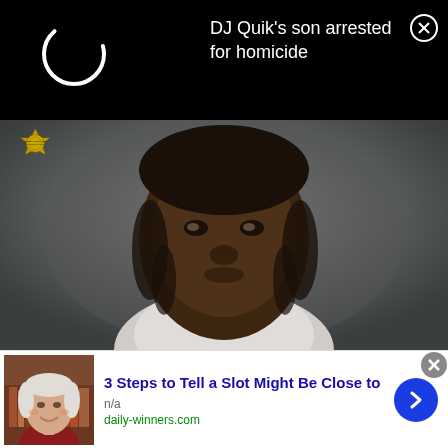[Figure (screenshot): Black notification bar with loading spinner circle on the left and text 'DJ Quik’s son arrested for homicide' on the right with a close (X) button]
DJ Quik’s son arrested for homicide
[Figure (photo): Mugshot photo of a young Black man with a Sheriff's Office badge watermark in the upper left corner]
Young Thug Denied Bond Again; Witness
[Figure (screenshot): Advertisement banner showing an older white man's photo on the left and text '3 Steps to Tell a Slot Might Be Close to' from daily-winners.com with a blue arrow button]